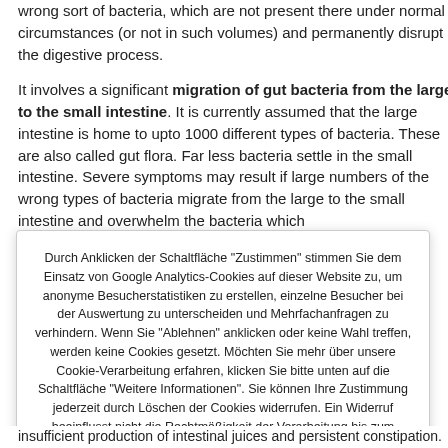wrong sort of bacteria, which are not present there under normal circumstances (or not in such volumes) and permanently disrupt the digestive process.
It involves a significant migration of gut bacteria from the large to the small intestine. It is currently assumed that the large intestine is home to upto 1000 different types of bacteria. These are also called gut flora. Far less bacteria settle in the small intestine. Severe symptoms may result if large numbers of the wrong types of bacteria migrate from the large to the small intestine and overwhelm the bacteria which
Durch Anklicken der Schaltfläche "Zustimmen" stimmen Sie dem Einsatz von Google Analytics-Cookies auf dieser Website zu, um anonyme Besucherstatistiken zu erstellen, einzelne Besucher bei der Auswertung zu unterscheiden und Mehrfachanfragen zu verhindern. Wenn Sie "Ablehnen" anklicken oder keine Wahl treffen, werden keine Cookies gesetzt. Möchten Sie mehr über unsere Cookie-Verarbeitung erfahren, klicken Sie bitte unten auf die Schaltfläche "Weitere Informationen". Sie können Ihre Zustimmung jederzeit durch Löschen der Cookies widerrufen. Ein Widerruf beeinflusst nicht die Rechtmäßigkeit der Verarbeitung bis zum Widerruf.
Zustimmen
Ablehnen
Weitere Informationen | Cookie Einstellungen
insufficient production of intestinal juices and persistent constipation.